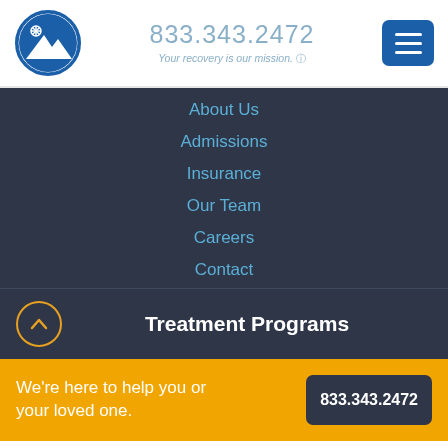[Figure (logo): Circular logo with blue border showing mountain and snowflake icon]
833.343.2472
Your recovery is our mission.
[Figure (other): Dark blue menu/hamburger button with three horizontal lines]
About Us
Admissions
Insurance
Our Team
Careers
Contact
Treatment Programs
We're here to help you or your loved one.
833.343.2472